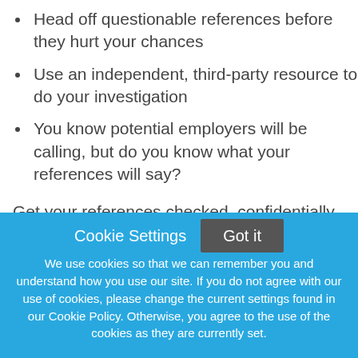Head off questionable references before they hurt your chances
Use an independent, third-party resource to do your investigation
You know potential employers will be calling, but do you know what your references will say?
Get your references checked, confidentially and professionally. Be confident your past employers are helping, not hurting, your candidacy.
Cookie Settings  Got it
We use cookies so that we can remember you and understand how you use our site. If you do not agree with our use of cookies, please change the current settings found in our Cookie Policy. Otherwise, you agree to the use of the cookies as they are currently set.